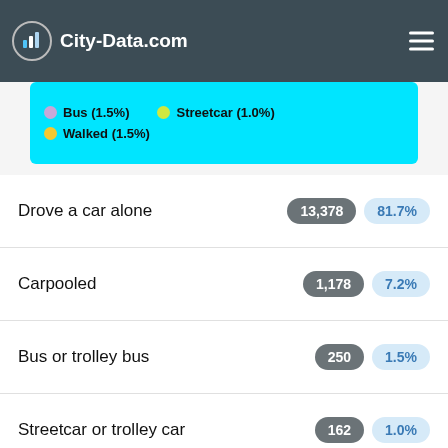City-Data.com
[Figure (pie-chart): Partial pie chart legend showing transportation modes: Bus (1.5%), Streetcar (1.0%), Walked (1.5%), with cyan background]
| Mode | Count | Percentage |
| --- | --- | --- |
| Drove a car alone | 13,378 | 81.7% |
| Carpooled | 1,178 | 7.2% |
| Bus or trolley bus | 250 | 1.5% |
| Streetcar or trolley car | 162 | 1.0% |
| Taxi | 79 | 0.5% |
| Motorcycle | 10 | 0.1% |
| Bicycle | 9 | 0.6% |
| Walked | 246 | 1.5% |